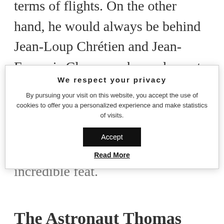terms of flights. On the other hand, he would always be behind Jean-Loup Chrétien and Jean-François Clervoy, who each went three times in space.
We respect your privacy
By pursuing your visit on this website, you accept the use of cookies to offer you a personalized experience and make statistics of visits.
Accept
Read More
the Moon, which would be an incredible feat.
The Astronaut Thomas